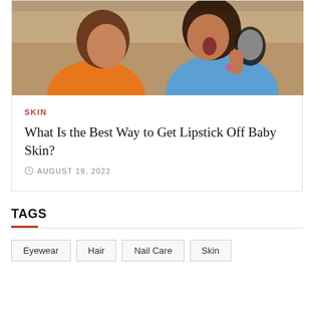[Figure (photo): Two children playing with lipstick/makeup, one in orange shirt and one in blue shirt]
SKIN
What Is the Best Way to Get Lipstick Off Baby Skin?
AUGUST 19, 2022
TAGS
Eyewear
Hair
Nail Care
Skin